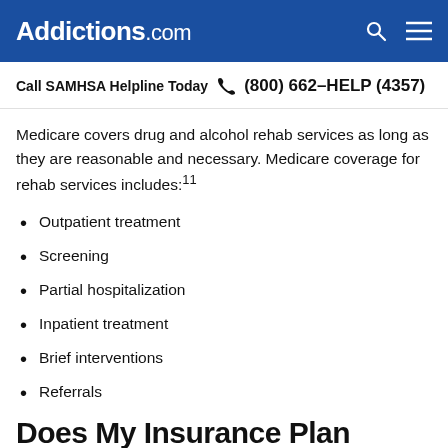Addictions.com
Call SAMHSA Helpline Today  (800) 662-HELP (4357)
Medicare covers drug and alcohol rehab services as long as they are reasonable and necessary. Medicare coverage for rehab services includes:11
Outpatient treatment
Screening
Partial hospitalization
Inpatient treatment
Brief interventions
Referrals
Does My Insurance Plan